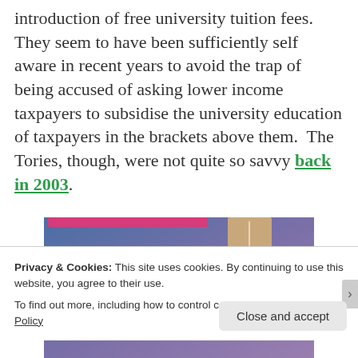introduction of free university tuition fees. They seem to have been sufficiently self aware in recent years to avoid the trap of being accused of asking lower income taxpayers to subsidise the university education of taxpayers in the brackets above them. The Tories, though, were not quite so savvy back in 2003.
[Figure (illustration): Partial image showing a blue-to-purple gradient background with a beige/tan vertical rectangular shape (possibly a door or pillar) on the right side and a pink horizontal bar near the top.]
Privacy & Cookies: This site uses cookies. By continuing to use this website, you agree to their use.
To find out more, including how to control cookies, see here: Cookie Policy
Close and accept